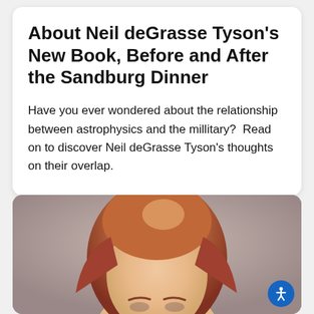About Neil deGrasse Tyson's New Book, Before and After the Sandburg Dinner
Have you ever wondered about the relationship between astrophysics and the millitary?  Read on to discover Neil deGrasse Tyson's thoughts on their overlap.
[Figure (photo): Photo of a woman with red/auburn hair, partial head visible from forehead down, against a muted purple-gray background]